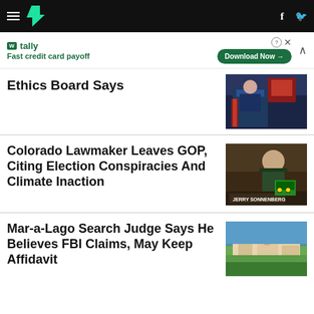HuffPost navigation header
[Figure (other): Tally app advertisement banner: Fast credit card payoff, Download Now button]
Ethics Board Says
[Figure (photo): Photo of people at a podium with an American flag]
Colorado Lawmaker Leaves GOP, Citing Election Conspiracies And Climate Inaction
[Figure (photo): Photo of Jerry Sonnenberg at a desk holding a toy tractor]
Mar-a-Lago Search Judge Says He Believes FBI Claims, May Keep Affidavit